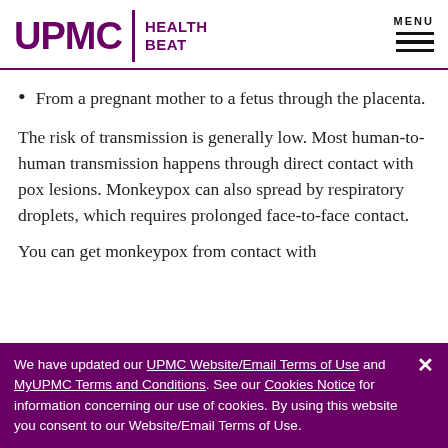UPMC | HEALTH BEAT | MENU
From a pregnant mother to a fetus through the placenta.
The risk of transmission is generally low. Most human-to-human transmission happens through direct contact with pox lesions. Monkeypox can also spread by respiratory droplets, which requires prolonged face-to-face contact.
You can get monkeypox from contact with
We have updated our UPMC Website/Email Terms of Use and MyUPMC Terms and Conditions. See our Cookies Notice for information concerning our use of cookies. By using this website you consent to our Website/Email Terms of Use.